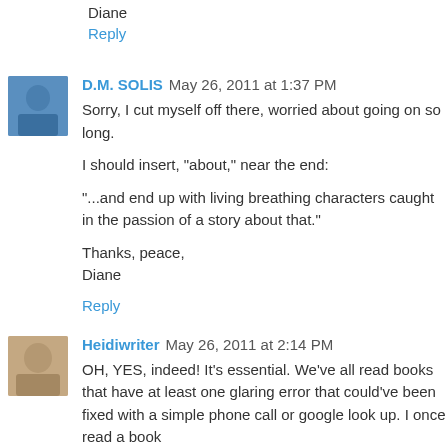Diane
Reply
D.M. SOLIS May 26, 2011 at 1:37 PM
Sorry, I cut myself off there, worried about going on so long.
I should insert, "about," near the end:
"...and end up with living breathing characters caught in the passion of a story about that."
Thanks, peace,
Diane
Reply
Heidiwriter May 26, 2011 at 2:14 PM
OH, YES, indeed! It's essential. We've all read books that have at least one glaring error that could've been fixed with a simple phone call or google look up. I once read a book